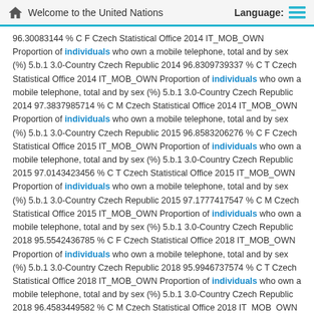Welcome to the United Nations   Language:
96.30083144 % C F Czech Statistical Office 2014 IT_MOB_OWN Proportion of individuals who own a mobile telephone, total and by sex (%) 5.b.1 3.0-Country Czech Republic 2014 96.8309739337 % C T Czech Statistical Office 2014 IT_MOB_OWN Proportion of individuals who own a mobile telephone, total and by sex (%) 5.b.1 3.0-Country Czech Republic 2014 97.3837985714 % C M Czech Statistical Office 2014 IT_MOB_OWN Proportion of individuals who own a mobile telephone, total and by sex (%) 5.b.1 3.0-Country Czech Republic 2015 96.8583206276 % C F Czech Statistical Office 2015 IT_MOB_OWN Proportion of individuals who own a mobile telephone, total and by sex (%) 5.b.1 3.0-Country Czech Republic 2015 97.0143423456 % C T Czech Statistical Office 2015 IT_MOB_OWN Proportion of individuals who own a mobile telephone, total and by sex (%) 5.b.1 3.0-Country Czech Republic 2015 97.1777417547 % C M Czech Statistical Office 2015 IT_MOB_OWN Proportion of individuals who own a mobile telephone, total and by sex (%) 5.b.1 3.0-Country Czech Republic 2018 95.5542436785 % C F Czech Statistical Office 2018 IT_MOB_OWN Proportion of individuals who own a mobile telephone, total and by sex (%) 5.b.1 3.0-Country Czech Republic 2018 95.9946737574 % C T Czech Statistical Office 2018 IT_MOB_OWN Proportion of individuals who own a mobile telephone, total and by sex (%) 5.b.1 3.0-Country Czech Republic 2018 96.4583449582 % C M Czech Statistical Office 2018 IT_MOB_OWN Proportion of individuals who own a mobile telephone, total and by sex (%) 5.b.1 3.0-Country Czech Republic 2019 96.5879192485 % C M Czech